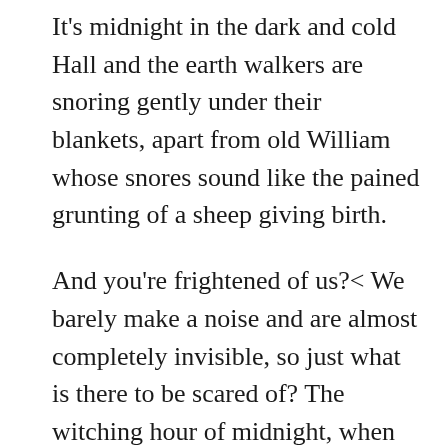It's midnight in the dark and cold Hall and the earth walkers are snoring gently under their blankets, apart from old William whose snores sound like the pained grunting of a sheep giving birth.
And you're frightened of us?< We barely make a noise and are almost completely invisible, so just what is there to be scared of? The witching hour of midnight, when we all come out to scare the living daylights out of you; just where did that idea come from? We are here all the time, watching. We don't sleep, as there is no need too. And